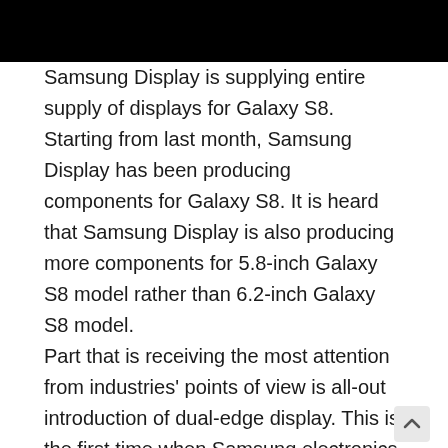Samsung Display is supplying entire supply of displays for Galaxy S8. Starting from last month, Samsung Display has been producing components for Galaxy S8. It is heard that Samsung Display is also producing more components for 5.8-inch Galaxy S8 model rather than 6.2-inch Galaxy S8 model.
Part that is receiving the most attention from industries' points of view is all-out introduction of dual-edge display. This is the first time when Samsung electronics is completely removing flat displays and only using edge displays to its Galaxy S series. For Galaxy S6 and Galaxy S7, Samsung Electronics had been pushing for so-called parallel strategy by releasing models with flat displays and edge displays at the same time. This is its strategy to have